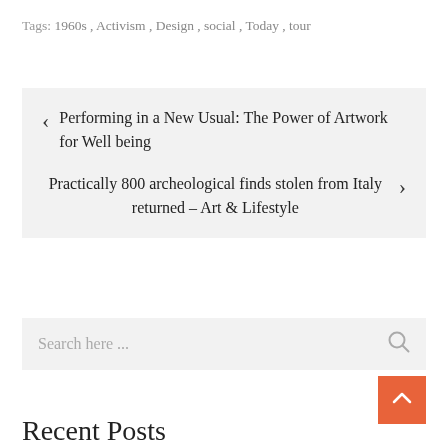Tags: 1960s, Activism, Design, social, Today, tour
< Performing in a New Usual: The Power of Artwork for Well being
Practically 800 archeological finds stolen from Italy returned – Art & Lifestyle >
Search here ...
Recent Posts